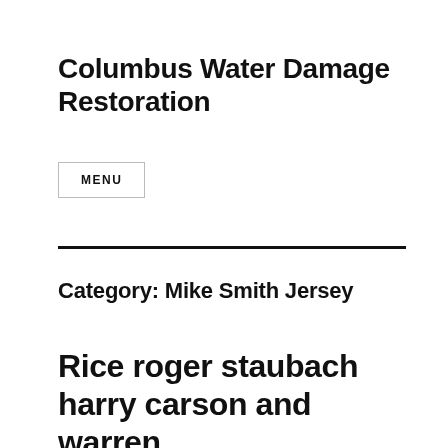Columbus Water Damage Restoration
MENU
Category: Mike Smith Jersey
Rice roger staubach harry carson and warren